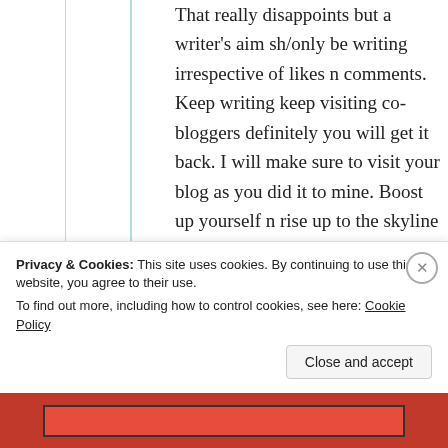That really disappoints but a writer's aim sh/only be writing irrespective of likes n comments. Keep writing keep visiting co-bloggers definitely you will get it back. I will make sure to visit your blog as you did it to mine. Boost up yourself n rise up to the skyline of
Privacy & Cookies: This site uses cookies. By continuing to use this website, you agree to their use. To find out more, including how to control cookies, see here: Cookie Policy
Close and accept